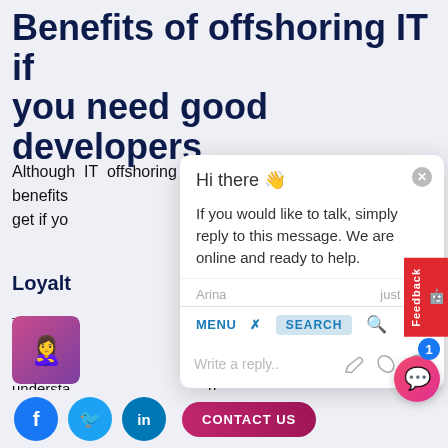Benefits of offshoring IT if you need good developers
Although IT offshoring has its downsides, e benefits u get if yo
Loyalty
[Figure (screenshot): Live chat popup overlay with greeting message from Arina: 'Hi there 👋 If you would like to talk, simply reply to this message. We are online and ready to help.' with MENU and SEARCH bar visible and a reply input field.]
understa n employees abr mpletely focus on your project and deliver excellent s. Offshoring makes it possible from t ry
[Figure (screenshot): Bottom navigation bar with Facebook, Twitter, LinkedIn social buttons and CONTACT US button, plus a pink chat bubble with notification badge.]